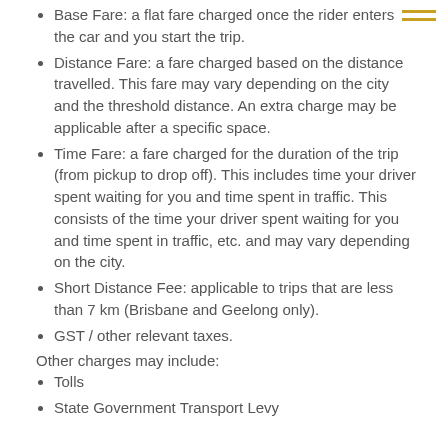Base Fare: a flat fare charged once the rider enters the car and you start the trip.
Distance Fare: a fare charged based on the distance travelled. This fare may vary depending on the city and the threshold distance. An extra charge may be applicable after a specific space.
Time Fare: a fare charged for the duration of the trip (from pickup to drop off). This includes time your driver spent waiting for you and time spent in traffic. This consists of the time your driver spent waiting for you and time spent in traffic, etc. and may vary depending on the city.
Short Distance Fee: applicable to trips that are less than 7 km (Brisbane and Geelong only).
GST / other relevant taxes.
Other charges may include:
Tolls
State Government Transport Levy